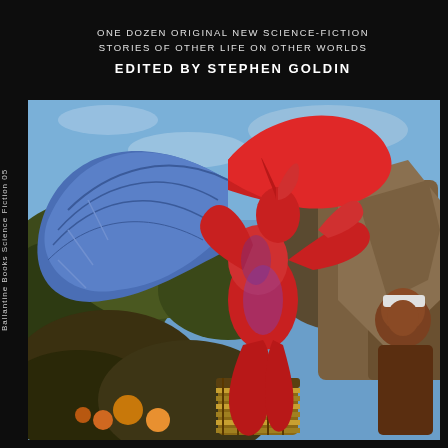Ballantine Books Science Fiction 05
ONE DOZEN ORIGINAL NEW SCIENCE-FICTION STORIES OF OTHER LIFE ON OTHER WORLDS
EDITED BY STEPHEN GOLDIN
[Figure (illustration): Science fiction book cover illustration showing a red winged alien humanoid creature with blue wings, rising dramatically above a jungle/rocky landscape with a human figure and drum in the foreground, blue sky background]